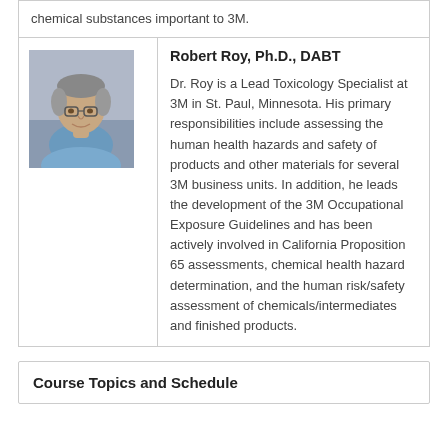chemical substances important to 3M.
[Figure (photo): Headshot photo of Robert Roy, a middle-aged man with glasses, wearing a blue shirt, with a neutral/warm background.]
Robert Roy, Ph.D., DABT

Dr. Roy is a Lead Toxicology Specialist at 3M in St. Paul, Minnesota. His primary responsibilities include assessing the human health hazards and safety of products and other materials for several 3M business units. In addition, he leads the development of the 3M Occupational Exposure Guidelines and has been actively involved in California Proposition 65 assessments, chemical health hazard determination, and the human risk/safety assessment of chemicals/intermediates and finished products.
Course Topics and Schedule